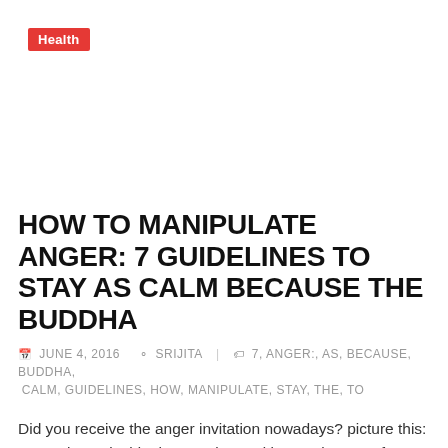Health
HOW TO MANIPULATE ANGER: 7 GUIDELINES TO STAY AS CALM BECAUSE THE BUDDHA
JUNE 4, 2016   SRIJITA   |   7, ANGER:, AS, BECAUSE, BUDDHA, CALM, GUIDELINES, HOW, MANIPULATE, STAY, THE, TO
Did you receive the anger invitation nowadays? picture this: you wake up inside the morning and its pouring out of doors. so you must bypass going out for a jog (which gets you a touch